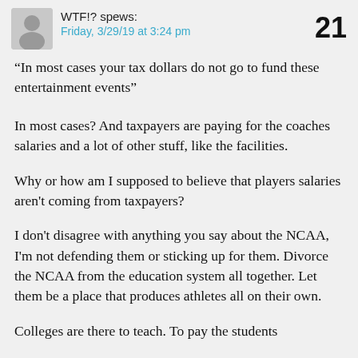WTF!? spews: Friday, 3/29/19 at 3:24 pm  21
“In most cases your tax dollars do not go to fund these entertainment events”
In most cases? And taxpayers are paying for the coaches salaries and a lot of other stuff, like the facilities.
Why or how am I supposed to believe that players salaries aren't coming from taxpayers?
I don't disagree with anything you say about the NCAA, I'm not defending them or sticking up for them. Divorce the NCAA from the education system all together. Let them be a place that produces athletes all on their own.
Colleges are there to teach. To pay the students